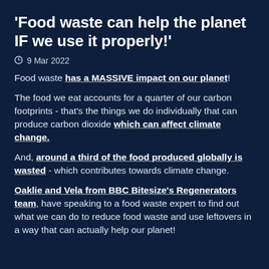'Food waste can help the planet IF we use it properly!'
9 Mar 2022
Food waste has a MASSIVE impact on our planet!
The food we eat accounts for a quarter of our carbon footprints - that's the things we do individually that can produce carbon dioxide which can affect climate change.
And, around a third of the food produced globally is wasted - which contributes towards climate change.
Oaklie and Vela from BBC Bitesize's Regenerators team, have speaking to a food waste expert to find out what we can do to reduce food waste and use leftovers in a way that can actually help our planet!